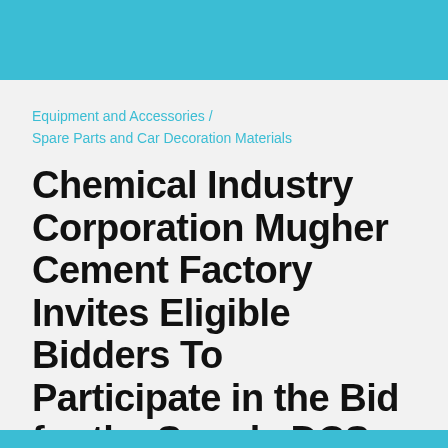Equipment and Accessories /
Spare Parts and Car Decoration Materials
Chemical Industry Corporation Mugher Cement Factory Invites Eligible Bidders To Participate in the Bid for the Supply DCS System Spare Parts